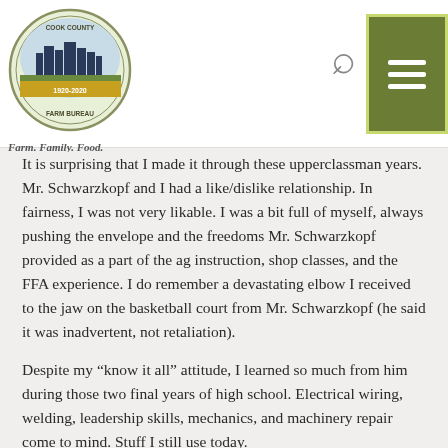[Figure (logo): Cook County Farm Bureau logo — circular emblem with city skyline and agricultural imagery, gold banner, with tagline 'Farm. Family. Food.' below]
It is surprising that I made it through these upperclassman years. Mr. Schwarzkopf and I had a like/dislike relationship. In fairness, I was not very likable. I was a bit full of myself, always pushing the envelope and the freedoms Mr. Schwarzkopf provided as a part of the ag instruction, shop classes, and the FFA experience. I do remember a devastating elbow I received to the jaw on the basketball court from Mr. Schwarzkopf (he said it was inadvertent, not retaliation).
Despite my “know it all” attitude, I learned so much from him during those two final years of high school. Electrical wiring, welding, leadership skills, mechanics, and machinery repair come to mind. Stuff I still use today.
25 years later, I traveled to a Farm Bureau meeting in Ottawa. Prior to the meeting, while taking a moment to use the men’s restroom, I glanced to my right to see Mr. Schwarzkopf standing there in the stall next to me. What a shocker!
Quite a location to get caught up on life!